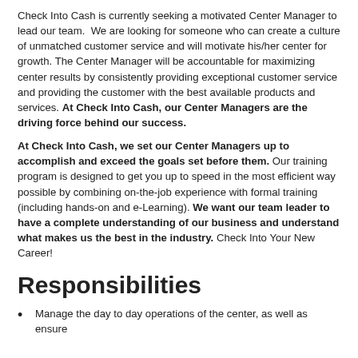Check Into Cash is currently seeking a motivated Center Manager to lead our team.  We are looking for someone who can create a culture of unmatched customer service and will motivate his/her center for growth. The Center Manager will be accountable for maximizing center results by consistently providing exceptional customer service and providing the customer with the best available products and services. At Check Into Cash, our Center Managers are the driving force behind our success.
At Check Into Cash, we set our Center Managers up to accomplish and exceed the goals set before them. Our training program is designed to get you up to speed in the most efficient way possible by combining on-the-job experience with formal training (including hands-on and e-Learning). We want our team leader to have a complete understanding of our business and understand what makes us the best in the industry. Check Into Your New Career!
Responsibilities
Manage the day to day operations of the center, as well as ensure